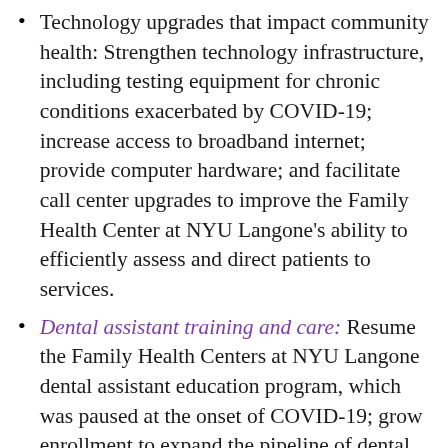Technology upgrades that impact community health: Strengthen technology infrastructure, including testing equipment for chronic conditions exacerbated by COVID-19; increase access to broadband internet; provide computer hardware; and facilitate call center upgrades to improve the Family Health Center at NYU Langone's ability to efficiently assess and direct patients to services.
Dental assistant training and care: Resume the Family Health Centers at NYU Langone dental assistant education program, which was paused at the onset of COVID-19; grow enrollment to expand the pipeline of dental assistants to become the community...